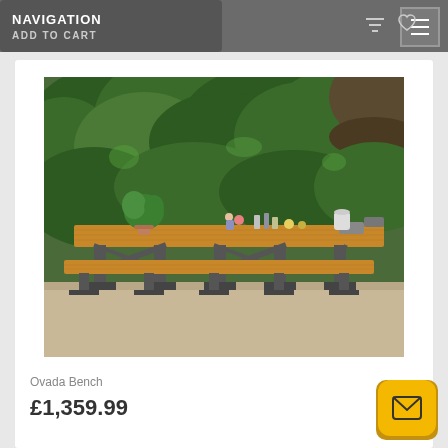NAVIGATION
ADD TO CART
[Figure (photo): Outdoor dining set (Ovada Bench) with a long wooden table and matching bench, featuring metal industrial-style legs, set in a garden with lush green foliage in the background. Table is decorated with plants and glassware.]
Ovada Bench
£1,359.99